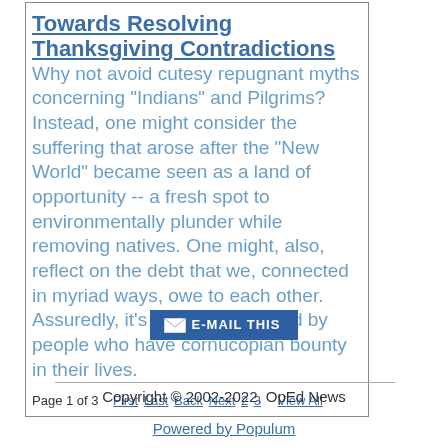Towards Resolving Thanksgiving Contradictions
Why not avoid cutesy repugnant myths concerning "Indians" and Pilgrims? Instead, one might consider the suffering that arose after the "New World" became seen as a land of opportunity -- a fresh spot to environmentally plunder while removing natives. One might, also, reflect on the debt that we, connected in myriad ways, owe to each other. Assuredly, it's especially obliged by people who have cornucopian bounty in their lives.
Page 1 of 3   First Last Back Next 2 3   View All
[Figure (other): E-MAIL THIS button with envelope icon]
Copyright © 2002-2022, OpEd News
Powered by Populum